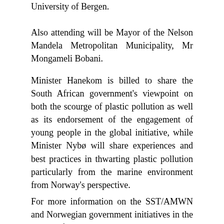University of Bergen.
Also attending will be Mayor of the Nelson Mandela Metropolitan Municipality, Mr Mongameli Bobani.
Minister Hanekom is billed to share the South African government's viewpoint on both the scourge of plastic pollution as well as its endorsement of the engagement of young people in the global initiative, while Minister Nybø will share experiences and best practices in thwarting plastic pollution particularly from the marine environment from Norway's perspective.
For more information on the SST/AMWN and Norwegian government initiatives in the South Africa based war against particularly marine